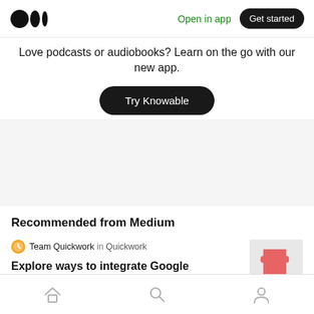Medium logo | Open in app | Get started
Love podcasts or audiobooks? Learn on the go with our new app.
Try Knowable
Recommended from Medium
Team Quickwork in Quickwork
Explore ways to integrate Google Hangouts with famous apps
[Figure (photo): Red puzzle piece on light grey background]
Home | Search | Profile navigation icons